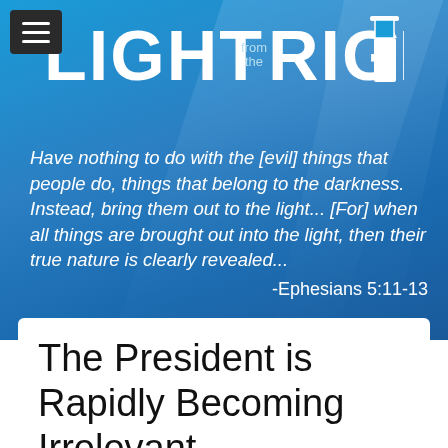[Figure (logo): Light From The Right website logo with lighthouse graphic on blue gradient background]
Have nothing to do with the [evil] things that people do, things that belong to the darkness. Instead, bring them out to the light... [For] when all things are brought out into the light, then their true nature is clearly revealed...
-Ephesians 5:11-13
The President is Rapidly Becoming Irrelevant